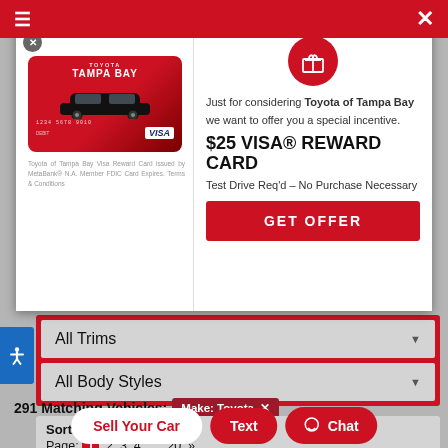[Figure (screenshot): Toyota of Tampa Bay website screenshot with a modal popup offering a $25 Visa Reward Card for a test drive. Background shows vehicle filter dropdowns (All Trims, All Body Styles), 291 matching vehicles with Make: Toyota filter, and navigation buttons including Sell Your Car, Text, and Chat.]
Just for considering Toyota of Tampa Bay we want to offer you a special incentive.
$25 VISA® REWARD CARD
Test Drive Req'd – No Purchase Necessary
GET OFFER
Toyota of Tampa Bay Visa Reward Card issued by MetaBank® N.A. Member FDIC Card Expires. Terms & Conditions
All Trims
All Body Styles
291 Matching Vehicles: Make: Toyota ✕
Sort by or
Page: 1 2 3 4 … 20 »
Sell Your Car
Text
Chat